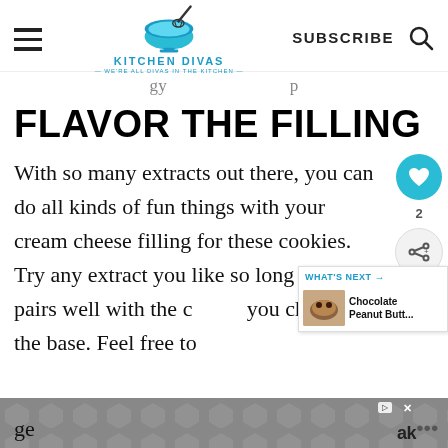Kitchen Divas — We're All Divas in the Kitchen — SUBSCRIBE
…gy … p
FLAVOR THE FILLING
With so many extracts out there, you can do all kinds of fun things with your cream cheese filling for these cookies. Try any extract you like so long as it pairs well with the c… you chose as the base. Feel free to ge… ak…